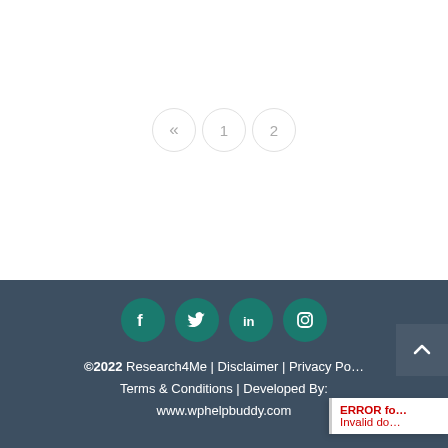[Figure (infographic): Pagination controls showing previous arrow «, page 1, and page 2 buttons as light gray circles]
[Figure (infographic): Footer with social media icons (Facebook, Twitter, LinkedIn, Instagram) in teal circles on dark slate background]
©2022 Research4Me | Disclaimer | Privacy Po… | Terms & Conditions | Developed By: www.wphelpbuddy.com